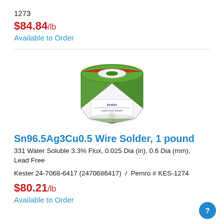1273
$84.84/lb
Available to Order
[Figure (photo): Kester spool of Lead-Free Solder wire, green cylindrical spool with white label showing Kester logo and Pb symbol]
Sn96.5Ag3Cu0.5 Wire Solder, 1 pound
331 Water Soluble 3.3% Flux, 0.025 Dia (in), 0.6 Dia (mm), Lead Free
Kester 24-7068-6417 (2470686417)  /  Pemro # KES-1274
$80.21/lb
Available to Order